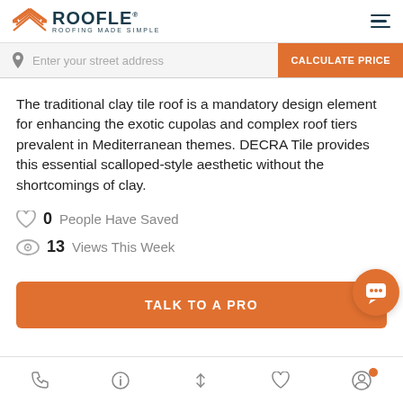ROOFLE - ROOFING MADE SIMPLE
Enter your street address | CALCULATE PRICE
The traditional clay tile roof is a mandatory design element for enhancing the exotic cupolas and complex roof tiers prevalent in Mediterranean themes. DECRA Tile provides this essential scalloped-style aesthetic without the shortcomings of clay.
0 People Have Saved
13 Views This Week
TALK TO A PRO
Phone | Info | Sort | Saved | Profile